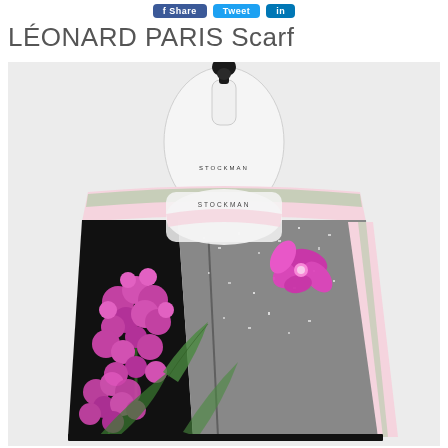social sharing buttons (Facebook, Twitter, LinkedIn)
LÉONARD PARIS Scarf
[Figure (photo): A LÉONARD PARIS silk scarf draped over a white Stockman mannequin bust. The scarf features a bold floral design with bright magenta/pink flowers (lilac clusters and orchids) against a black and white marbled background, with a light pink border and sage green leaf accents. The mannequin has a black handle at the top and the word STOCKMAN printed on it.]